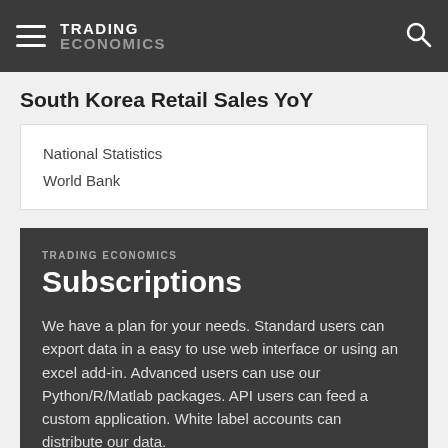TRADING ECONOMICS
South Korea Retail Sales YoY
National Statistics
World Bank
TRADING ECONOMICS Subscriptions
We have a plan for your needs. Standard users can export data in a easy to use web interface or using an excel add-in. Advanced users can use our Python/R/Matlab packages. API users can feed a custom application. White label accounts can distribute our data.